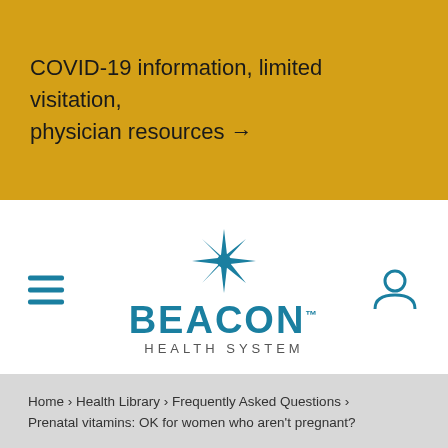COVID-19 information, limited visitation, physician resources →
[Figure (logo): Beacon Health System logo with star icon, hamburger menu icon on left, user profile icon on right]
How can we help? Ask Beacon.
Home › Health Library › Frequently Asked Questions › Prenatal vitamins: OK for women who aren't pregnant?